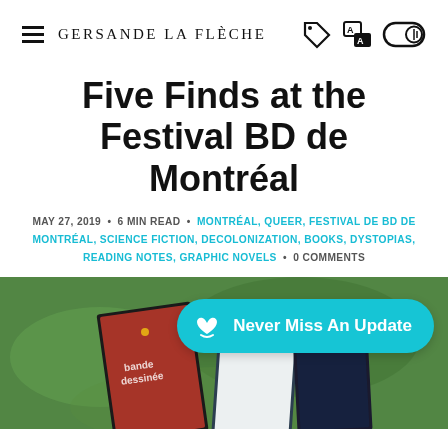Gersande La Flèche
Five Finds at the Festival BD de Montréal
MAY 27, 2019 • 6 MIN READ • MONTRÉAL, QUEER, FESTIVAL DE BD DE MONTRÉAL, SCIENCE FICTION, DECOLONIZATION, BOOKS, DYSTOPIAS, READING NOTES, GRAPHIC NOVELS • 0 COMMENTS
[Figure (photo): Photo of comic books laid on grass, with a teal newsletter popup button reading 'Never Miss An Update']